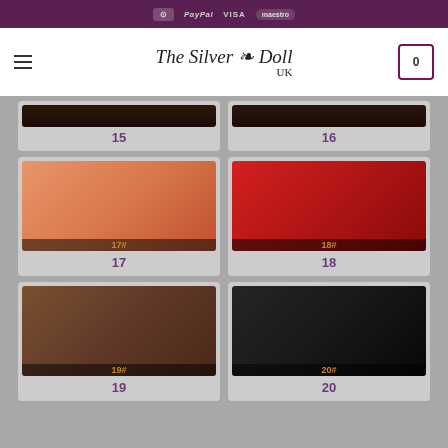The Silver Doll UK — payment icons: card, PayPal, VISA, Maestro
[Figure (photo): Wig option 15 — dark brown/black long wavy wig shown on mannequin, partially visible at top]
15
[Figure (photo): Wig option 16 — dark reddish-brown long wavy wig shown on mannequin, partially visible at top]
16
[Figure (photo): Wig option 17# — peach/salmon pink long wavy wig shown on mannequin front and back]
17
[Figure (photo): Wig option 18# — bright red long wavy wig shown on mannequin front and back]
18
[Figure (photo): Wig option 19# — dark brown long wavy wig shown on mannequin front and back]
19
[Figure (photo): Wig option 20# — black long straight wig shown on mannequin front and back]
20